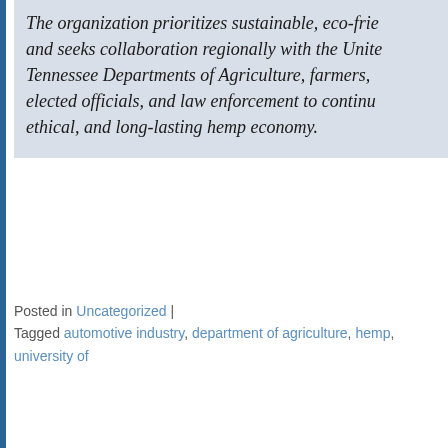The organization prioritizes sustainable, eco-friendly and seeks collaboration regionally with the United Tennessee Departments of Agriculture, farmers, elected officials, and law enforcement to continue ethical, and long-lasting hemp economy.
Posted in Uncategorized | Tagged automotive industry, department of agriculture, hemp, university of